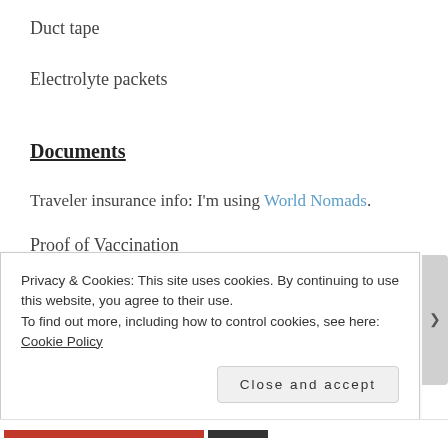Duct tape
Electrolyte packets
Documents
Traveler insurance info: I'm using World Nomads.
Proof of Vaccination (partial, obscured)
Privacy & Cookies: This site uses cookies. By continuing to use this website, you agree to their use. To find out more, including how to control cookies, see here: Cookie Policy
Close and accept